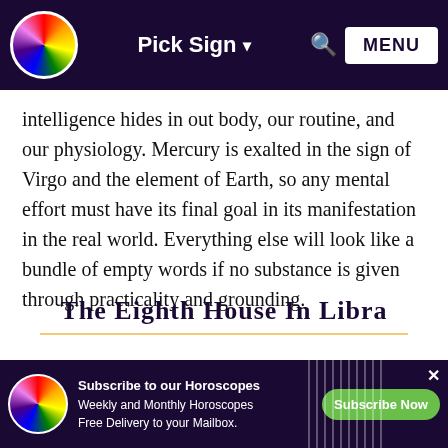Pick Sign ▾  🔍  MENU
intelligence hides in out body, our routine, and our physiology. Mercury is exalted in the sign of Virgo and the element of Earth, so any mental effort must have its final goal in its manifestation in the real world. Everything else will look like a bundle of empty words if no substance is given through practicality and grounding.
The Eighth House In Libra
The eighth house in Libra is a truly strange position for this seems to be linked to people who want to be